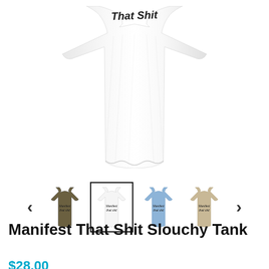[Figure (photo): Close-up of a white slouchy tank top with text 'That Shit' visible in handwritten black font on the fabric.]
[Figure (screenshot): Thumbnail carousel showing four color variants of the slouchy tank top (olive, white selected, blue, tan) with left and right navigation arrows.]
Manifest That Shit Slouchy Tank
$28.00